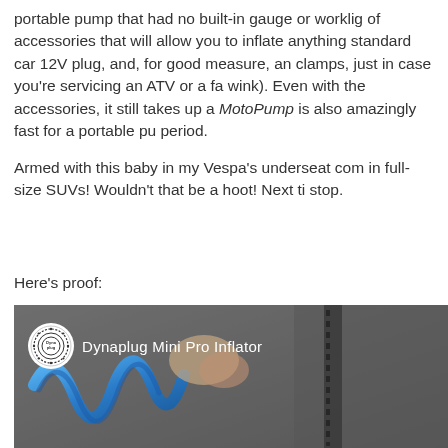portable pump that had no built-in gauge or worklig of accessories that will allow you to inflate anything standard car 12V plug, and, for good measure, an clamps, just in case you're servicing an ATV or a fa wink). Even with the accessories, it still takes up a MotoPump is also amazingly fast for a portable pu period.
Armed with this baby in my Vespa's underseat com in full-size SUVs! Wouldn't that be a hoot! Next ti stop.
Here's proof:
[Figure (photo): Video thumbnail showing a Dynaplug Mini Pro Inflator with a circular Dynaplug logo badge and channel name text overlay on a dark background with blue cable visible.]